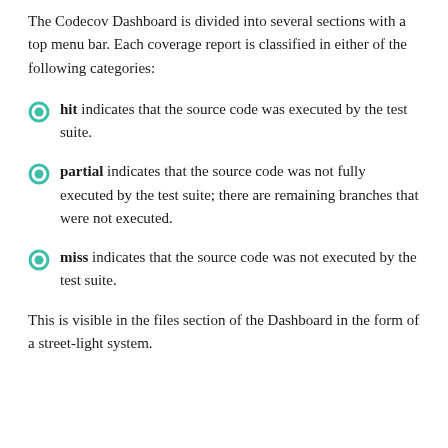The Codecov Dashboard is divided into several sections with a top menu bar. Each coverage report is classified in either of the following categories:
hit indicates that the source code was executed by the test suite.
partial indicates that the source code was not fully executed by the test suite; there are remaining branches that were not executed.
miss indicates that the source code was not executed by the test suite.
This is visible in the files section of the Dashboard in the form of a street-light system.